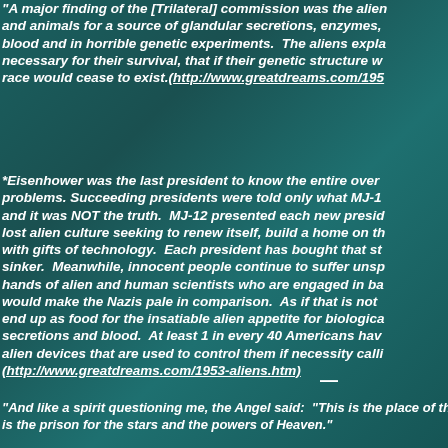"A major finding of the [Trilateral] commission was the aliens were using humans and animals for a source of glandular secretions, enzymes, hormonal secretions, blood and in horrible genetic experiments.  The aliens explained that this was necessary for their survival, that if their genetic structure was not improved their race would cease to exist.(http://www.greatdreams.com/1953-aliens.htm)
*Eisenhower was the last president to know the entire overview of the alien problems. Succeeding presidents were told only what MJ-12 wanted them to know and it was NOT the truth.  MJ-12 presented each new president with the story of a lost alien culture seeking to renew itself, build a home on this planet and shower us with gifts of technology.  Each president has bought that story hook, line, and sinker.  Meanwhile, innocent people continue to suffer unspeakable horrors at the hands of alien and human scientists who are engaged in barbaric research that would make the Nazis pale in comparison.  As if that is not enough, many people end up as food for the insatiable alien appetite for biological substances, glandular secretions and blood.  At least 1 in every 40 Americans have been implanted with alien devices that are used to control them if necessity calls for it. (http://www.greatdreams.com/1953-aliens.htm)
—
"And like a spirit questioning me, the Angel said:  "This is the place of the... is the prison for the stars and the powers of Heaven."